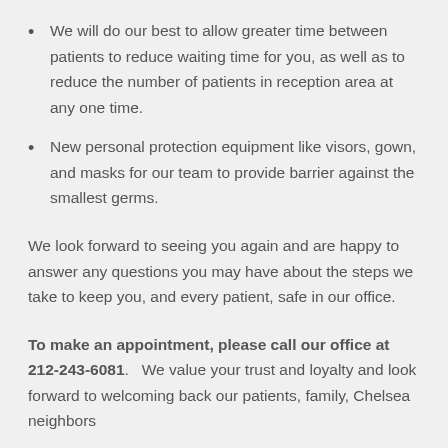We will do our best to allow greater time between patients to reduce waiting time for you, as well as to reduce the number of patients in reception area at any one time.
New personal protection equipment like visors, gown, and masks for our team to provide barrier against the smallest germs.
We look forward to seeing you again and are happy to answer any questions you may have about the steps we take to keep you, and every patient, safe in our office.
To make an appointment, please call our office at 212-243-6081.   We value your trust and loyalty and look forward to welcoming back our patients, family, Chelsea neighbors